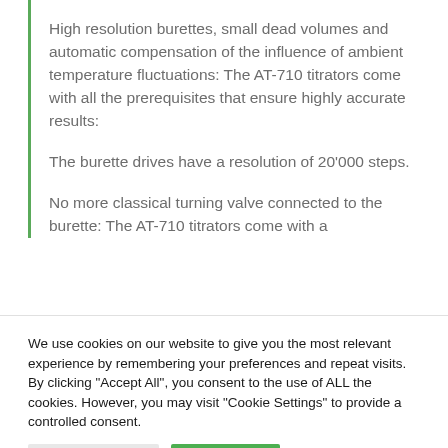High resolution burettes, small dead volumes and automatic compensation of the influence of ambient temperature fluctuations: The AT-710 titrators come with all the prerequisites that ensure highly accurate results:
The burette drives have a resolution of 20'000 steps.
No more classical turning valve connected to the burette: The AT-710 titrators come with a
We use cookies on our website to give you the most relevant experience by remembering your preferences and repeat visits. By clicking "Accept All", you consent to the use of ALL the cookies. However, you may visit "Cookie Settings" to provide a controlled consent.